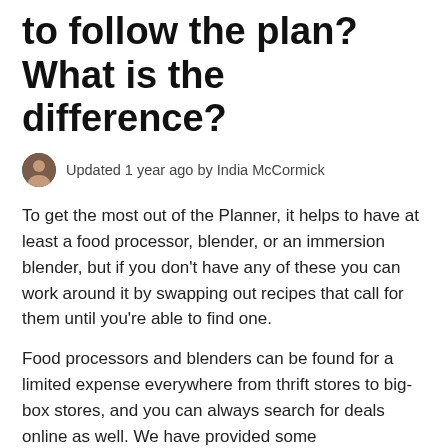to follow the plan? What is the difference?
Updated 1 year ago by India McCormick
To get the most out of the Planner, it helps to have at least a food processor, blender, or an immersion blender, but if you don't have any of these you can work around it by swapping out recipes that call for them until you're able to find one.
Food processors and blenders can be found for a limited expense everywhere from thrift stores to big-box stores, and you can always search for deals online as well. We have provided some recommendations below.
For dressings, sauces, and other components that are meant to be as smooth and creamy as